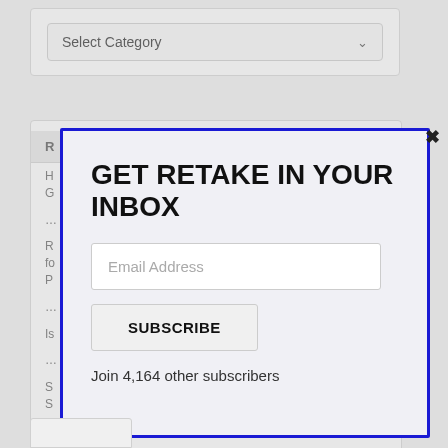[Figure (screenshot): Dropdown widget with 'Select Category' label and chevron arrow]
[Figure (screenshot): Partially visible background list panel with items clipped behind modal]
[Figure (screenshot): Email subscription modal with blue border, close button, title 'GET RETAKE IN YOUR INBOX', email input field, SUBSCRIBE button, and subscriber count text]
GET RETAKE IN YOUR INBOX
Email Address
SUBSCRIBE
Join 4,164 other subscribers